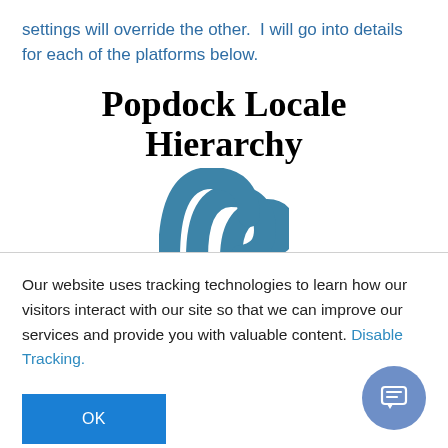settings will override the other.  I will go into details for each of the platforms below.
Popdock Locale Hierarchy
[Figure (logo): Popdock logo: teal/blue stylized arches resembling the letter M or overlapping crescents]
Our website uses tracking technologies to learn how our visitors interact with our site so that we can improve our services and provide you with valuable content. Disable Tracking.
OK